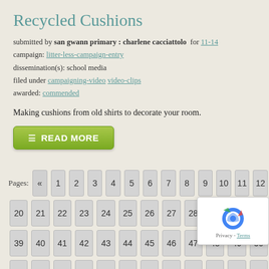Recycled Cushions
submitted by san gwann primary : charlene cacciattolo for 11-14
campaign: litter-less-campaign-entry
dissemination(s): school media
filed under campaigning-video video-clips
awarded: commended
Making cushions from old shirts to decorate your room.
READ MORE
Pages: « 1 2 3 4 5 6 7 8 9 10 11 12...
20 21 22 23 24 25 26 27 28 29 30 31...
39 40 41 42 43 44 45 46 47 48 49 50...
58 59 60 61 62 63 64 65 66 67 68 69...
77 78 79 80 81 82 83 84 85 86...
96 97 98 99 100 101 102 103 104...
112 113 114 115 116 117 118 119 120 121...